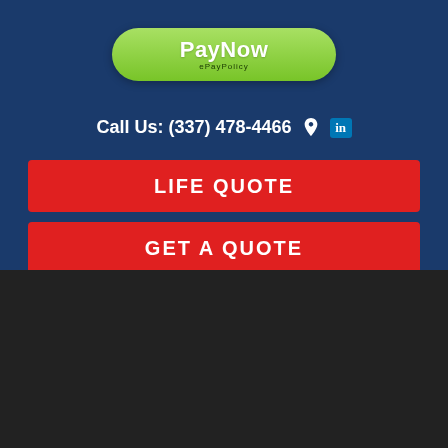[Figure (logo): PayNow ePayPolicy green pill-shaped button logo]
Call Us: (337) 478-4466
LIFE QUOTE
GET A QUOTE
Annual Insurance Review